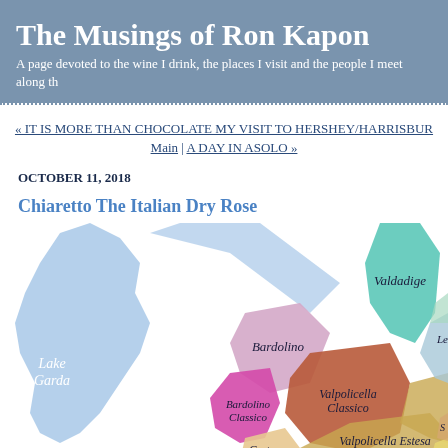The Musings of Ron Kapon
A page devoted to the wine I drink, the places I visit and the people I meet along th
« IT IS MORE THAN CHOCOLATE MY VISIT TO HERSHEY/HARRISBUR
Main | A DAY IN ASOLO »
OCTOBER 11, 2018
Chiaretto The Italian Dry Rose
[Figure (map): Map of Italian wine regions around Lake Garda, showing Bardolino, Bardolino Classico, Valdadige, Valpolicella Classico, Valpolicella Estesa, Custoza, Lessini D, and Lake Garda labeled, with colored regions.]